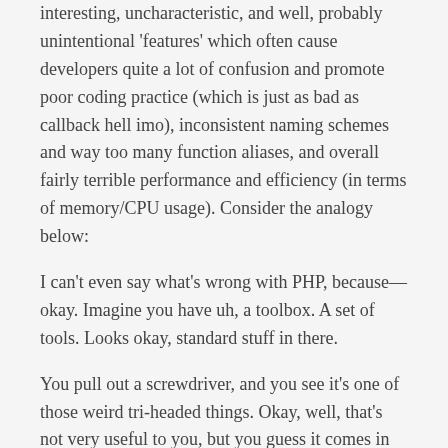interesting, uncharacteristic, and well, probably unintentional 'features' which often cause developers quite a lot of confusion and promote poor coding practice (which is just as bad as callback hell imo), inconsistent naming schemes and way too many function aliases, and overall fairly terrible performance and efficiency (in terms of memory/CPU usage). Consider the analogy below:
I can't even say what's wrong with PHP, because— okay. Imagine you have uh, a toolbox. A set of tools. Looks okay, standard stuff in there.
You pull out a screwdriver, and you see it's one of those weird tri-headed things. Okay, well, that's not very useful to you, but you guess it comes in handy sometimes.
You pull out the hammer, but to your dismay, it has the claw part on both sides. Still